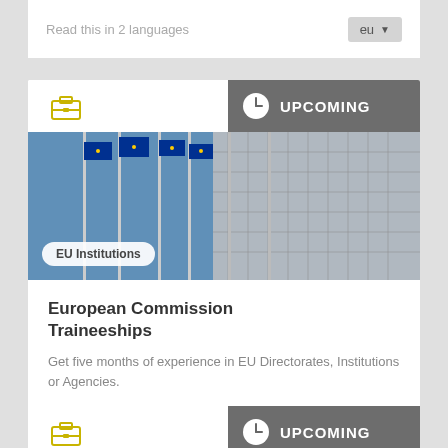Read this in 2 languages   eu ▼
[Figure (screenshot): Card with briefcase icon, UPCOMING badge, EU flags photo, EU Institutions badge, European Commission Traineeships title and description]
European Commission Traineeships
Get five months of experience in EU Directorates, Institutions or Agencies.
Read this in 2 languages   eu ▼
[Figure (screenshot): Second card with briefcase icon and UPCOMING badge, partially visible with people photo below]